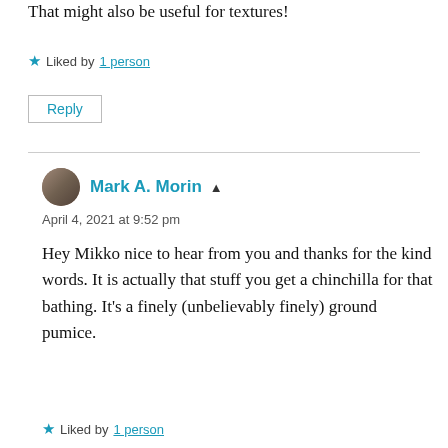That might also be useful for textures!
★ Liked by 1 person
Reply
Mark A. Morin
April 4, 2021 at 9:52 pm
Hey Mikko nice to hear from you and thanks for the kind words. It is actually that stuff you get a chinchilla for that bathing. It's a finely (unbelievably finely) ground pumice.
★ Liked by 1 person